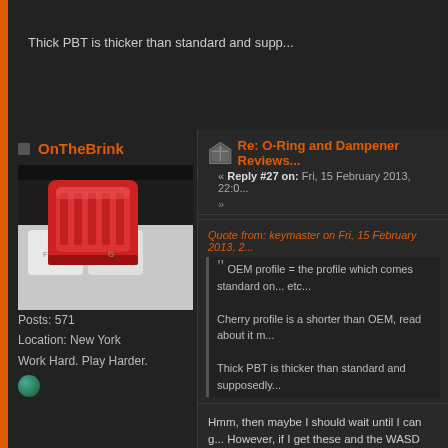Thick PBT is thicker than standard and supp...
[Figure (photo): Close-up photo of a red mechanical keyboard keycap on white keycaps]
OnTheBrink
Posts: 571
Location: New York
Work Hard. Play Harder.
Re: O-Ring and Dampener Reviews...
« Reply #27 on: Fri, 15 February 2013, 22:0...
Quote from: keymaster on Fri, 15 February 2013, 2...
OEM profile = the profile which comes standard on... etc...
Cherry profile is a shorter than OEM, read about it m...
Thick PBT is thicker than standard and supposedly...
Hmm, then maybe I should wait until I can g... However, if I get these and the WASD cluste... of like having the cluster a bit different but I...
Check out my channel: https://www.youtube.com/W...
X1 Gamertag: Cr00k1d
Whoever thought typing could feel so good?